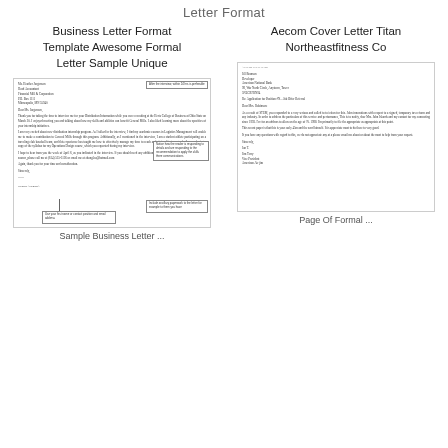Letter Format
Business Letter Format Template Awesome Formal Letter Sample Unique
[Figure (photo): Thumbnail of a formal business letter with callout annotations highlighting key sections like address, body, and signature]
Aecom Cover Letter Titan Northeastfitness Co
[Figure (photo): Thumbnail of an Aecom cover letter from Jim Terry, Vice President]
Sample Business Letter ...
Page Of Formal ...